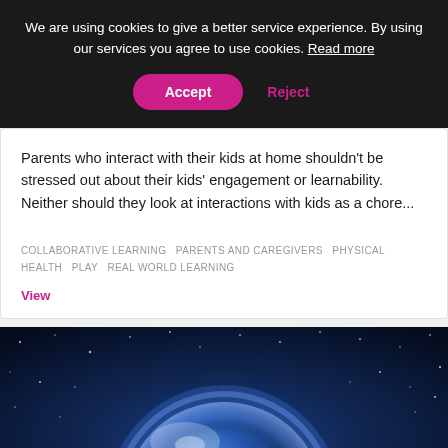We are using cookies to give a better service experience. By using our services you agree to use cookies. Read more
Parents who interact with their kids at home shouldn't be stressed out about their kids' engagement or learnability. Neither should they look at interactions with kids as a chore...
COLLABORATIVE LEARNING   PARENTS AND CAREGIVERS   PHYSICAL HEALTH   PLAY   REAL WORLD LEARNING
View
[Figure (photo): Photo of Earth from space with stars and blue glow in background]